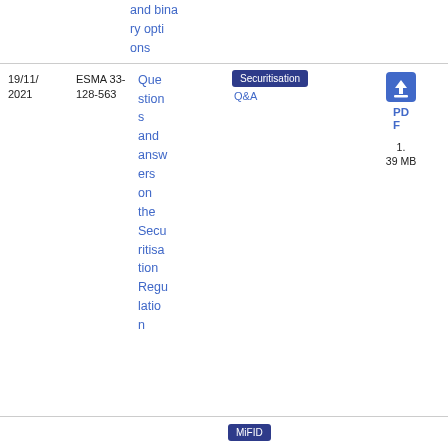and binary options
| Date | Reference | Title | Topic/Tag | Download |
| --- | --- | --- | --- | --- |
| 19/11/2021 | ESMA 33-128-563 | Questions and answers on the Securitisation Regulation | Securitisation Q&A | PDF 1.39 MB |
MiFID